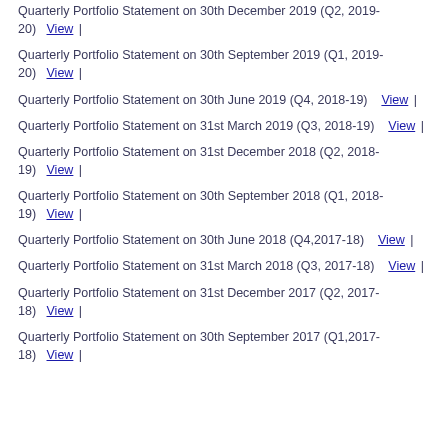Quarterly Portfolio Statement on 30th December 2019 (Q2, 2019-20)  View  |
Quarterly Portfolio Statement on 30th September 2019 (Q1, 2019-20)  View  |
Quarterly Portfolio Statement on 30th June 2019 (Q4, 2018-19)  View  |
Quarterly Portfolio Statement on 31st March 2019 (Q3, 2018-19)  View  |
Quarterly Portfolio Statement on 31st December 2018 (Q2, 2018-19)  View  |
Quarterly Portfolio Statement on 30th September 2018 (Q1, 2018-19)  View  |
Quarterly Portfolio Statement on 30th June 2018 (Q4,2017-18)  View  |
Quarterly Portfolio Statement on 31st March 2018 (Q3, 2017-18)  View  |
Quarterly Portfolio Statement on 31st December 2017 (Q2, 2017-18)  View  |
Quarterly Portfolio Statement on 30th September 2017 (Q1,2017-18)  View  |